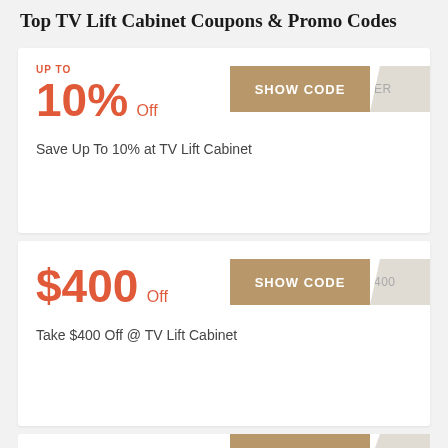Top TV Lift Cabinet Coupons & Promo Codes
UP TO
10% Off
Save Up To 10% at TV Lift Cabinet
$400 Off
Take $400 Off @ TV Lift Cabinet